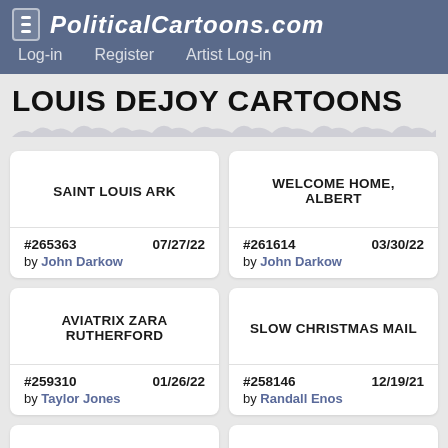POLITICALCARTOONS.COM — Log-in | Register | Artist Log-in
LOUIS DEJOY CARTOONS
| Card Title | ID | Date | Artist |
| --- | --- | --- | --- |
| SAINT LOUIS ARK | #265363 | 07/27/22 | John Darkow |
| WELCOME HOME, ALBERT | #261614 | 03/30/22 | John Darkow |
| AVIATRIX ZARA RUTHERFORD | #259310 | 01/26/22 | Taylor Jones |
| SLOW CHRISTMAS MAIL | #258146 | 12/19/21 | Randall Enos |
| MAIL THOSE GIFTS TODAY! | #257225 | 11/17/21 | John Cole |
| DEJOY'S JOY | #256347 | 10/18/21 | Pat Bagley |